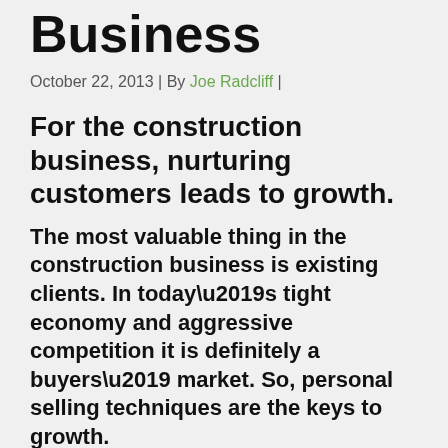Business
October 22, 2013 | By Joe Radcliff |
For the construction business, nurturing customers leads to growth.
The most valuable thing in the construction business is existing clients. In today’s tight economy and aggressive competition it is definitely a buyers’ market.  So, personal selling techniques are the keys to growth.
Here are some valuable tips that I’ve learned from my construction business experience to grow and nurture